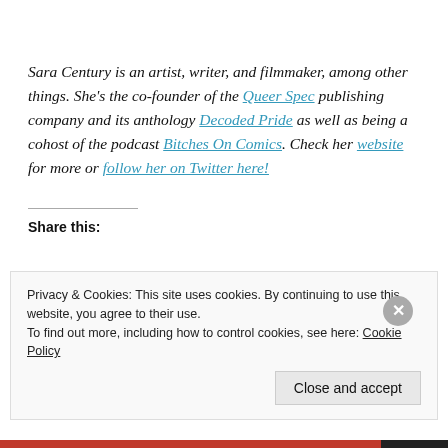Sara Century is an artist, writer, and filmmaker, among other things. She's the co-founder of the Queer Spec publishing company and its anthology Decoded Pride as well as being a cohost of the podcast Bitches On Comics. Check her website for more or follow her on Twitter here!
Share this:
Privacy & Cookies: This site uses cookies. By continuing to use this website, you agree to their use.
To find out more, including how to control cookies, see here: Cookie Policy
Close and accept